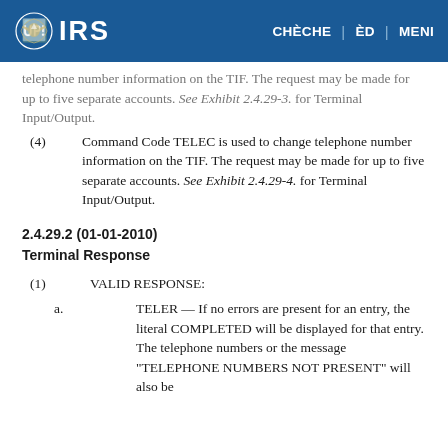IRS | CHÈCHE | ÈD | MENI
telephone number information on the TIF. The request may be made for up to five separate accounts. See Exhibit 2.4.29-3. for Terminal Input/Output.
(4) Command Code TELEC is used to change telephone number information on the TIF. The request may be made for up to five separate accounts. See Exhibit 2.4.29-4. for Terminal Input/Output.
2.4.29.2 (01-01-2010)
Terminal Response
(1) VALID RESPONSE:
a. TELER — If no errors are present for an entry, the literal COMPLETED will be displayed for that entry. The telephone numbers or the message "TELEPHONE NUMBERS NOT PRESENT" will also be